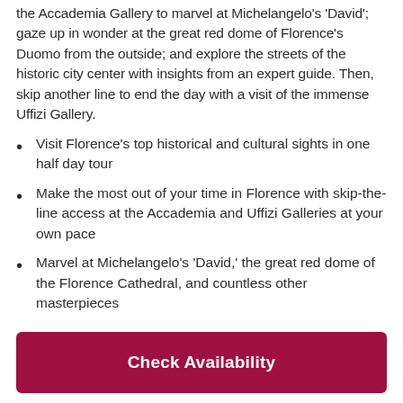the Accademia Gallery to marvel at Michelangelo's 'David'; gaze up in wonder at the great red dome of Florence's Duomo from the outside; and explore the streets of the historic city center with insights from an expert guide. Then, skip another line to end the day with a visit of the immense Uffizi Gallery.
Visit Florence's top historical and cultural sights in one half day tour
Make the most out of your time in Florence with skip-the-line access at the Accademia and Uffizi Galleries at your own pace
Marvel at Michelangelo's 'David,' the great red dome of the Florence Cathedral, and countless other masterpieces
Check Availability